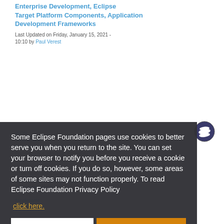Enterprise Development, Eclipse Target Platform Components, Application Development Frameworks
Last Updated on Friday, January 15, 2021 - 10:10 by Paul Verest
[Figure (logo): Eclipse IDE logo - circular emblem with dark blue and white horizontal bands]
Some Eclipse Foundation pages use cookies to better serve you when you return to the site. You can set your browser to notify you before you receive a cookie or turn off cookies. If you do so, however, some areas of some sites may not function properly. To read Eclipse Foundation Privacy Policy
click here.
Decline
Allow cookies